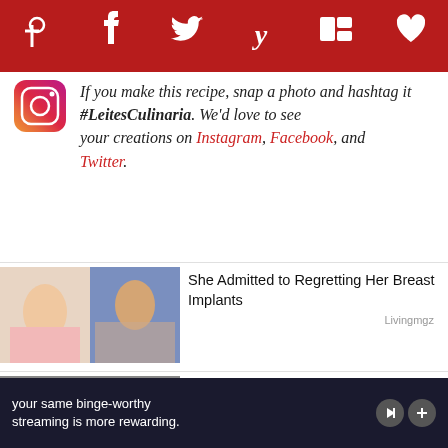Social share bar with Pinterest, Facebook, Twitter, Yummly, Flipboard, and heart icons
If you make this recipe, snap a photo and hashtag it #LeitesCulinaria. We'd love to see your creations on Instagram, Facebook, and Twitter.
[Figure (infographic): Sponsored content item: She Admitted to Regretting Her Breast Implants – Livingmgz]
[Figure (infographic): Sponsored content item: Another Celebrity Just Came Out of the Closet ?? – Freshedits]
[Figure (infographic): Sponsored content item: Nannies Reveal the Secrets of Their Famous Bosses]
your same binge-worthy streaming is more rewarding.